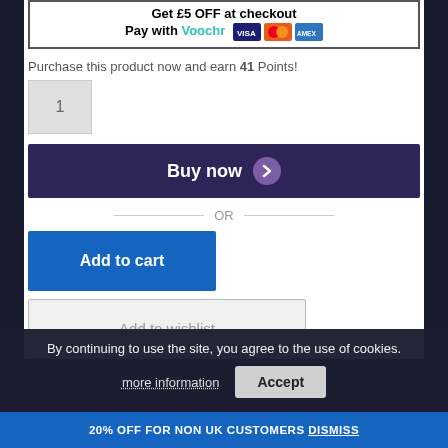[Figure (screenshot): Voochr promotional banner: 'Get £5 OFF at checkout. Pay with Voochr [VISA][Mastercard][Amex]']
Purchase this product now and earn 41 Points!
1
Buy now ❯
— OR —
Add to cart
Add to wishlist
By continuing to use the site, you agree to the use of cookies.
more information
Accept
20% OFF FOR NON UK CUSTOMERS Dismiss